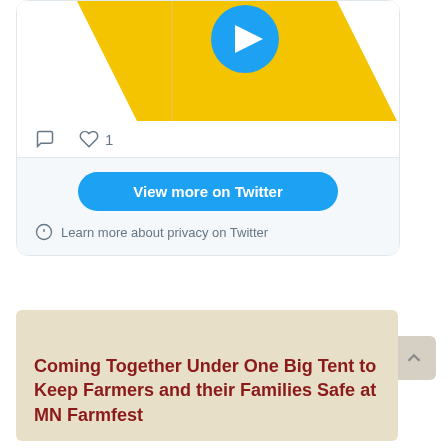[Figure (screenshot): Twitter embed card showing a video thumbnail with yellow diagonal stripe and blue play button, with comment and like (1) icons below, a 'View more on Twitter' blue button, and a 'Learn more about privacy on Twitter' info link.]
Latest News
Coming Together Under One Big Tent to Keep Farmers and their Families Safe at MN Farmfest